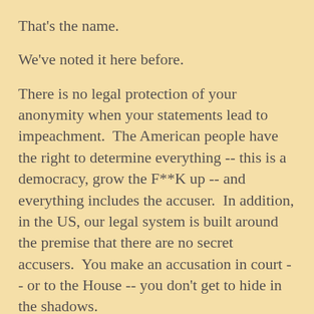That's the name.
We've noted it here before.
There is no legal protection of your anonymity when your statements lead to impeachment.  The American people have the right to determine everything -- this is a democracy, grow the F**K up -- and everything includes the accuser.  In addition, in the US, our legal system is built around the premise that there are no secret accusers.  You make an accusation in court -- or to the House -- you don't get to hide in the shadows.
Your accusation is your claim and We The People have every right to judge that claim based on you and what we can determine about your character.
We've been nice and we've highlighting COMMON DREAMS again and pretending that they didn't waste 8